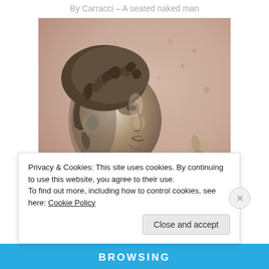By Carracci – A seated naked man
[Figure (illustration): A detailed pencil/chalk drawing showing the head and partial hand of a young man with curly hair, in profile facing right, with a raised hand visible at lower right. The drawing is in a Renaissance style, attributed to Carracci. Background is a warm pinkish-beige tone.]
Privacy & Cookies: This site uses cookies. By continuing to use this website, you agree to their use.
To find out more, including how to control cookies, see here: Cookie Policy
Close and accept